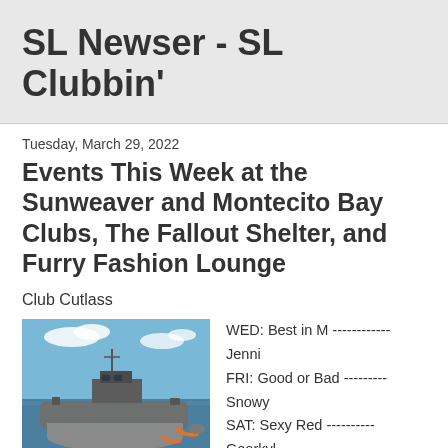SL Newser - SL Clubbin'
Tuesday, March 29, 2022
Events This Week at the Sunweaver and Montecito Bay Clubs, The Fallout Shelter, and Furry Fashion Lounge
Club Cutlass
[Figure (photo): 3D rendered image of a military-style naval vessel/submarine on water with blue sky background]
WED: Best in M ------------ Jenni
FRI: Good or Bad --------- Snowy
SAT: Sexy Red ---------- Georkyl